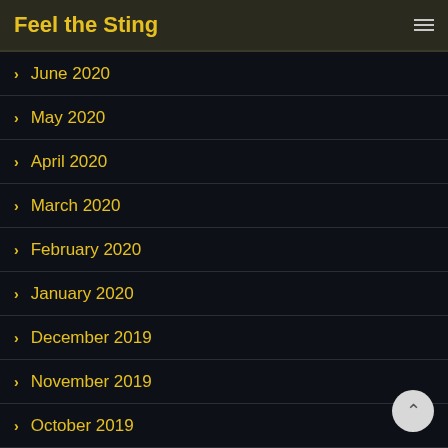Feel the Sting
> June 2020
> May 2020
> April 2020
> March 2020
> February 2020
> January 2020
> December 2019
> November 2019
> October 2019
> September 2019
> August 2019